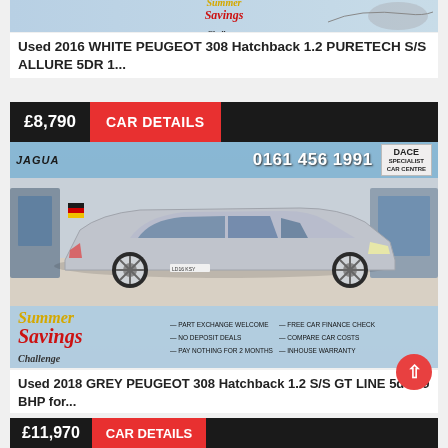[Figure (photo): Top partial car listing card showing Summer Savings Challenge logo on blue background]
Used 2016 WHITE PEUGEOT 308 Hatchback 1.2 PURETECH S/S ALLURE 5DR 1...
£8,790  CAR DETAILS
[Figure (photo): Grey Peugeot 308 hatchback parked in front of Jaguar dealership/Dace Specialist Car Centre, phone 0161 456 1991, Summer Savings Challenge banner with bullet points: Part Exchange Welcome, No Deposit Deals, Pay Nothing For 2 Months, Free Car Finance Check, Compare Car Costs, Inhouse Warranty]
Used 2018 GREY PEUGEOT 308 Hatchback 1.2 S/S GT LINE 5d 129 BHP for...
£11,970  CAR DETAILS